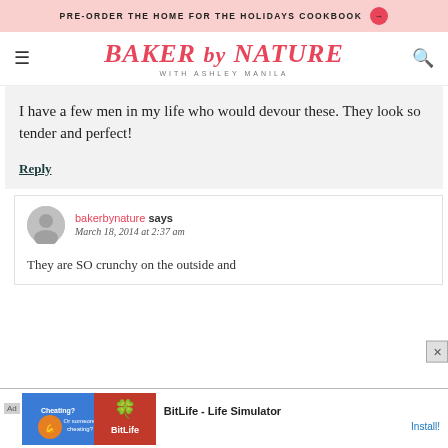PRE-ORDER THE HOME FOR THE HOLIDAYS COOKBOOK →
BAKER by NATURE WITH ASHLEY MANILA
I have a few men in my life who would devour these. They look so tender and perfect!
Reply
bakerbynature says
March 18, 2014 at 2:37 am
They are SO crunchy on the outside and
[Figure (screenshot): Ad banner: BitLife - Life Simulator game advertisement with Install button]